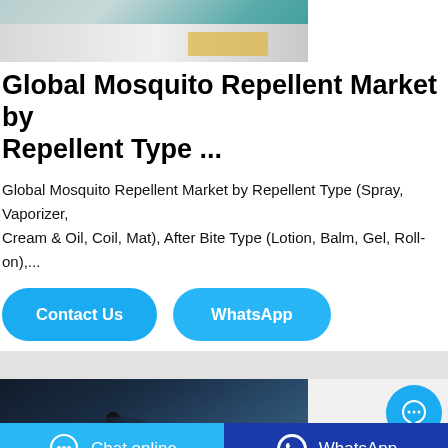[Figure (photo): Top portion of a photo showing what appears to be documents or papers on a teal/green surface, partially visible at top of page]
Global Mosquito Repellent Market by Repellent Type ...
Global Mosquito Repellent Market by Repellent Type (Spray, Vaporizer, Cream & Oil, Coil, Mat), After Bite Type (Lotion, Balm, Gel, Roll-on),...
Contact Us   WhatsApp
[Figure (photo): Photo of a mosquito on a dark blue/navy background with green element at bottom]
[Figure (other): Cyan circular chat bubble button with ellipsis (…) icon]
Chat online   WhatsApp